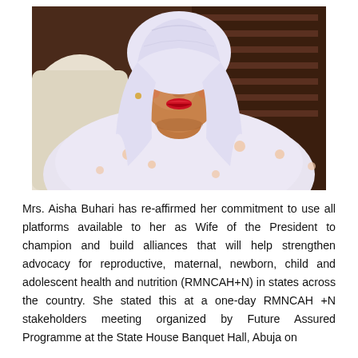[Figure (photo): Portrait photo of Mrs. Aisha Buhari wearing a white hijab and white embroidered garment with floral details, seated in a light-colored chair, against a dark background.]
Mrs. Aisha Buhari has re-affirmed her commitment to use all platforms available to her as Wife of the President to champion and build alliances that will help strengthen advocacy for reproductive, maternal, newborn, child and adolescent health and nutrition (RMNCAH+N) in states across the country. She stated this at a one-day RMNCAH +N stakeholders meeting organized by Future Assured Programme at the State House Banquet Hall, Abuja on